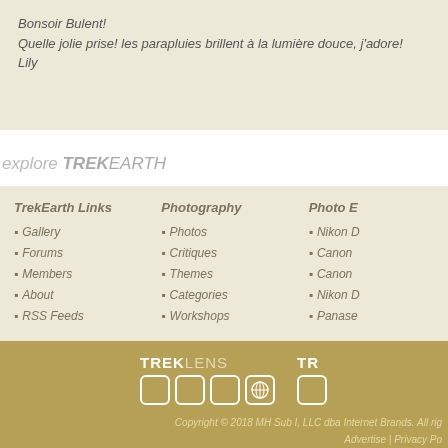Bonsoir Bulent!
Quelle jolie prise! les parapluies brillent à la lumière douce, j'adore!
Lily
explore TREKEARTH
TrekEarth Links: Gallery, Forums, Members, About, RSS Feeds
Photography: Photos, Critiques, Themes, Categories, Workshops
Photo E[quipment]: Nikon [D...], Canon [...], Canon [...], Nikon [...], Panase[...]
[Figure (logo): TREKLENS logo with grid of rounded square boxes]
[Figure (logo): TR[EK...] logo with rounded square box]
Copyright © 2018 MH Sub I, LLC dba Internet Brands. All rig[hts reserved.]
Advertise | Privacy Po[licy...]